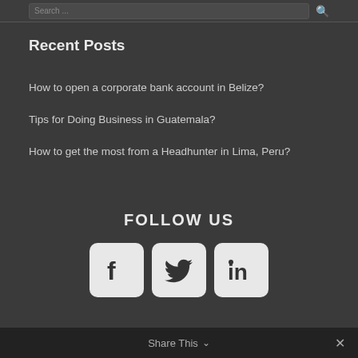Recent Posts
How to open a corporate bank account in Belize?
Tips for Doing Business in Guatemala?
How to get the most from a Headhunter in Lima, Peru?
FOLLOW US
[Figure (logo): Facebook, Twitter, and LinkedIn social media icon buttons]
Share This ×